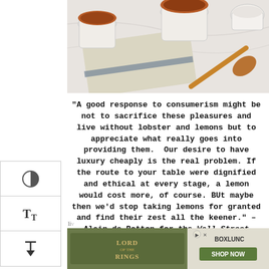[Figure (photo): Overhead view of coffee cups, a folded linen cloth with blue stripe, and a copper spoon on a white marble surface]
“A good response to consumerism might be not to sacrifice these pleasures and live without lobster and lemons but to appreciate what really goes into providing them. Our desire to have luxury cheaply is the real problem. If the route to your table were dignified and ethical at every stage, a lemon would cost more, of course. BUt maybe then we’d stop taking lemons for granted and find their zest all the keener.” – Alain de Botton for the Wall Street Journal
[Figure (screenshot): Lord of the Rings BoxLunch advertisement banner]